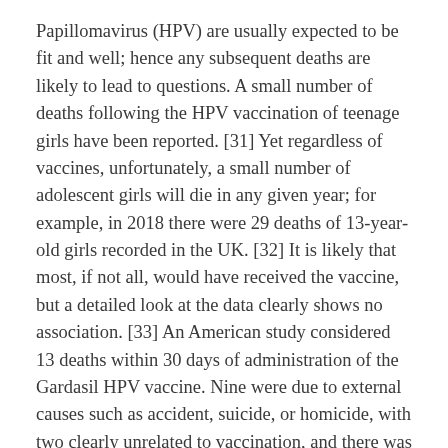Papillomavirus (HPV) are usually expected to be fit and well; hence any subsequent deaths are likely to lead to questions. A small number of deaths following the HPV vaccination of teenage girls have been reported. [31] Yet regardless of vaccines, unfortunately, a small number of adolescent girls will die in any given year; for example, in 2018 there were 29 deaths of 13-year-old girls recorded in the UK. [32] It is likely that most, if not all, would have received the vaccine, but a detailed look at the data clearly shows no association. [33] An American study considered 13 deaths within 30 days of administration of the Gardasil HPV vaccine. Nine were due to external causes such as accident, suicide, or homicide, with two clearly unrelated to vaccination, and there was limited evidence available regarding the remaining two. [34] In later life, UK government statistics from 2018 show on average 934 deaths of someone aged 80 or over every day. [35] So, if we offer a vaccine to everyone in this age group (such as happens with the seasonal flu vaccine), we can expect to see a few deaths very soon after the vaccination, by chance.